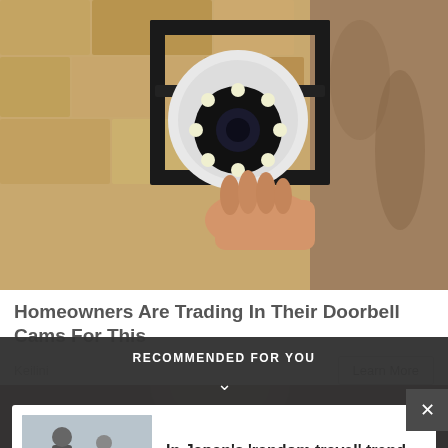[Figure (photo): Security camera being installed on a textured stone/brick wall, white dome camera with LED lights in a black mounting bracket, person's hand visible]
Homeowners Are Trading In Their Doorbell Cams For This
Keilini
Learn More
[Figure (photo): Partial view of a person's head/face from below, dark-skinned individual, blurred/cropped]
RECOMMENDED FOR YOU
[Figure (photo): Travelers at what appears to be a train station or airport, person with yellow/green luggage visible]
In Japan's 'random travel' trend, Lady Luck chooses the destination